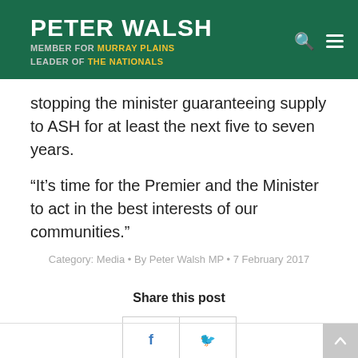PETER WALSH
MEMBER FOR MURRAY PLAINS
LEADER OF THE NATIONALS
stopping the minister guaranteeing supply to ASH for at least the next five to seven years.
“It’s time for the Premier and the Minister to act in the best interests of our communities.”
Category: Media • By Peter Walsh MP • 7 February 2017
Share this post
[Figure (other): Facebook and Twitter share buttons]